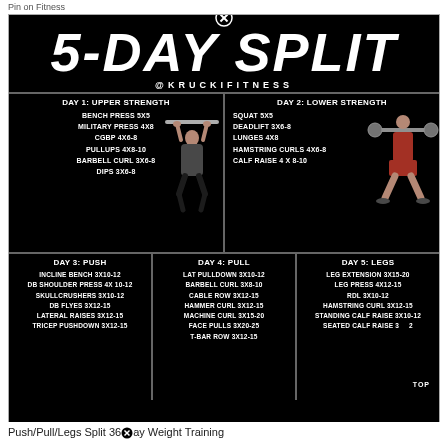Pin on Fitness
5-DAY SPLIT
@KRUCKIFITNESS
DAY 1: UPPER STRENGTH
BENCH PRESS 5X5
MILITARY PRESS 4X8
CGBP 4X6-8
PULLUPS 4X8-10
BARBELL CURL 3X6-8
DIPS 3X6-8
DAY 2: LOWER STRENGTH
SQUAT 5X5
DEADLIFT 3X6-8
LUNGES 4X8
HAMSTRING CURLS 4X6-8
CALF RAISE 4 X 8-10
DAY 3: PUSH
INCLINE BENCH 3X10-12
DB SHOULDER PRESS 4X 10-12
SKULLCRUSHERS 3X10-12
DB FLYES 3X12-15
LATERAL RAISES 3X12-15
TRICEP PUSHDOWN 3X12-15
DAY 4: PULL
LAT PULLDOWN 3X10-12
BARBELL CURL 3X8-10
CABLE ROW 3X12-15
HAMMER CURL 3X12-15
MACHINE CURL 3X15-20
FACE PULLS 3X20-25
T-BAR ROW 3X12-15
DAY 5: LEGS
LEG EXTENSION 3X15-20
LEG PRESS 4X12-15
RDL 3X10-12
HAMSTRING CURL 3X12-15
STANDING CALF RAISE 3X10-12
SEATED CALF RAISE 3X12
Push/Pull/Legs Split 36 ay Weight Training